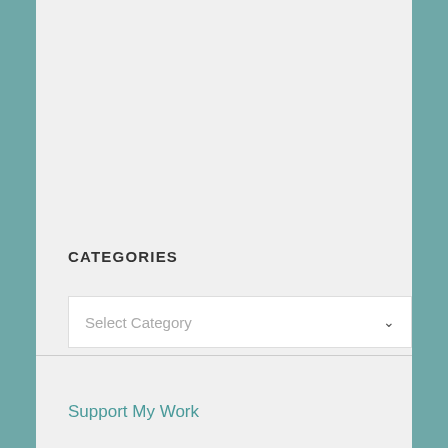[Figure (screenshot): Empty top content section with light gray background]
CATEGORIES
[Figure (screenshot): Select Category dropdown input field with chevron arrow on right]
Support My Work